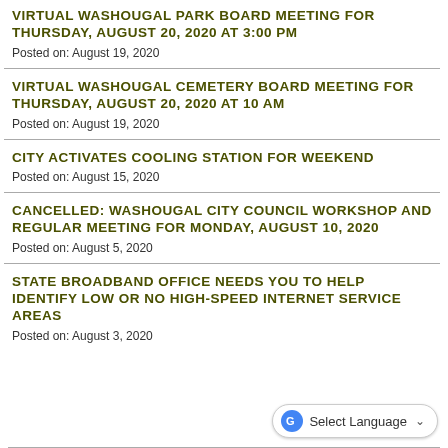VIRTUAL WASHOUGAL PARK BOARD MEETING FOR THURSDAY, AUGUST 20, 2020 AT 3:00 PM
Posted on: August 19, 2020
VIRTUAL WASHOUGAL CEMETERY BOARD MEETING FOR THURSDAY, AUGUST 20, 2020 AT 10 AM
Posted on: August 19, 2020
CITY ACTIVATES COOLING STATION FOR WEEKEND
Posted on: August 15, 2020
CANCELLED: WASHOUGAL CITY COUNCIL WORKSHOP AND REGULAR MEETING FOR MONDAY, AUGUST 10, 2020
Posted on: August 5, 2020
STATE BROADBAND OFFICE NEEDS YOU TO HELP IDENTIFY LOW OR NO HIGH-SPEED INTERNET SERVICE AREAS
Posted on: August 3, 2020